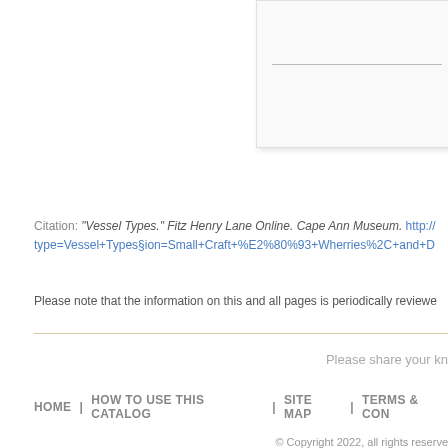[Figure (other): Partial view of a card/panel element with a horizontal line, cut off at the right edge of the page]
Citation: "Vessel Types." Fitz Henry Lane Online. Cape Ann Museum. http://...type=Vessel+Types§ion=Small+Craft+%E2%80%93+Wherries%2C+and+D
Please note that the information on this and all pages is periodically reviewe...
Please share your kn...
HOME | HOW TO USE THIS CATALOG | SITE MAP | TERMS & CON...
© Copyright 2022, all rights reserve...